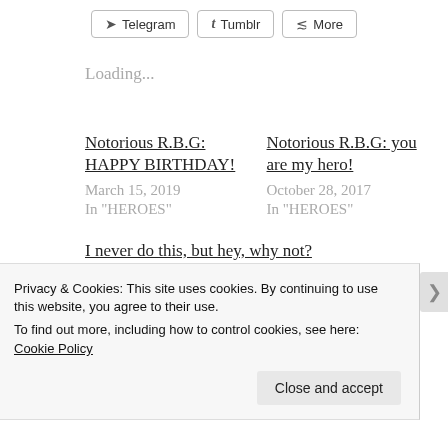[Figure (other): Share buttons row: Telegram, Tumblr, More]
Loading...
Notorious R.B.G: HAPPY BIRTHDAY!
March 15, 2019
In "HEROES"
Notorious R.B.G: you are my hero!
October 28, 2017
In "HEROES"
I never do this, but hey, why not?
December 31, 2018
Privacy & Cookies: This site uses cookies. By continuing to use this website, you agree to their use.
To find out more, including how to control cookies, see here: Cookie Policy
Close and accept